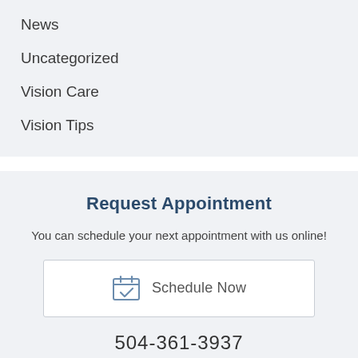News
Uncategorized
Vision Care
Vision Tips
Request Appointment
You can schedule your next appointment with us online!
Schedule Now
504-361-3937